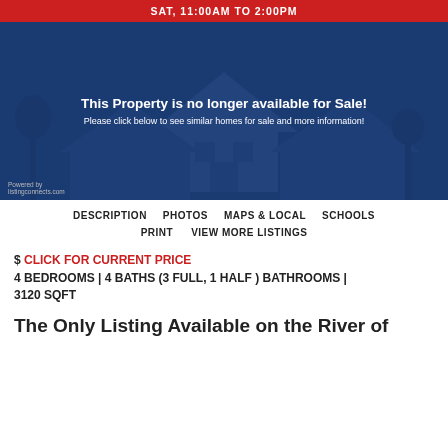SAT, 11:00AM TO 2:00PM
[Figure (photo): House exterior photo overlaid with dark blue tint. Text overlay reads: 'This Property is no longer available for Sale! Please click below to see similar homes for sale and more information!' Small 'Powered by listingconnects.com' watermark at bottom left.]
DESCRIPTION   PHOTOS   MAPS & LOCAL   SCHOOLS
PRINT   VIEW MORE LISTINGS
$ CLICK FOR CURRENT PRICE
4 BEDROOMS | 4 BATHS (3 FULL, 1 HALF ) BATHROOMS | 3120 SQFT
The Only Listing Available on the River of